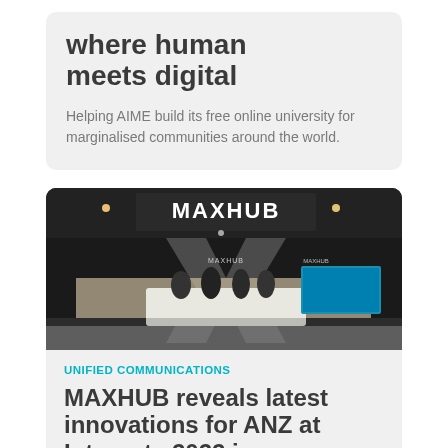where human meets digital
Helping AIME build its free online university for marginalised communities around the world.
[Figure (photo): MAXHUB exhibition booth at Integrate 2022 trade show, showing large illuminated MAXHUB sign, X-shaped structure, displays, and people at a counter]
UNIFIED COMMUNICATIONS
MAXHUB reveals latest innovations for ANZ at Integrate 2022 in